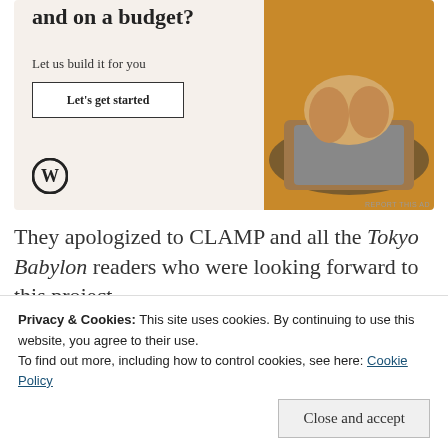[Figure (other): WordPress advertisement banner with beige background showing text 'and on a budget?', 'Let us build it for you', a 'Let's get started' button, WordPress logo, and a circular photo of hands typing on a laptop]
They apologized to CLAMP and all the Tokyo Babylon readers who were looking forward to this project.
Privacy & Cookies: This site uses cookies. By continuing to use this website, you agree to their use.
To find out more, including how to control cookies, see here: Cookie Policy
Close and accept
looking forward to this. I think this was the